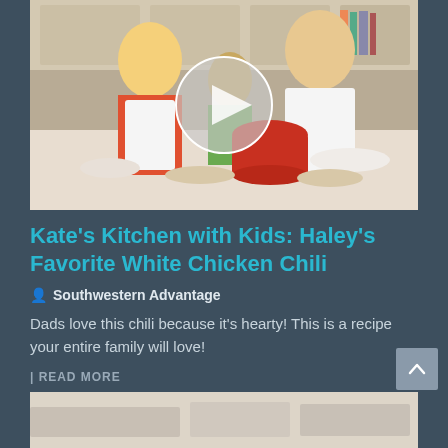[Figure (screenshot): Video thumbnail showing two women and a child cooking in a kitchen, wearing white aprons with 'Kate's Kitchen with Kids' branding. A play button circle overlay is in the center of the image. The kitchen has white cabinets and various cooking ingredients on the counter including a red pot.]
Kate's Kitchen with Kids: Haley's Favorite White Chicken Chili
Southwestern Advantage
Dads love this chili because it's hearty! This is a recipe your entire family will love!
READ MORE
[Figure (photo): Partial view of a cooking-related bottom image, cropped.]